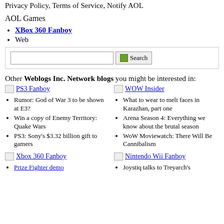Privacy Policy, Terms of Service, Notify AOL
AOL Games
XBox 360 Fanboy
Web
Other Weblogs Inc. Network blogs you might be interested in:
[Figure (other): PS3 Fanboy blog logo/image placeholder]
Rumor: God of War 3 to be shown at E3?
Win a copy of Enemy Territory: Quake Wars
PS3: Sony's $3.32 billion gift to gamers
[Figure (other): WOW Insider blog logo/image placeholder]
What to wear to melt faces in Karazhan, part one
Arena Season 4: Everything we know about the brutal season
WoW Moviewatch: There Will Be Cannibalism
[Figure (other): Xbox 360 Fanboy blog logo/image placeholder]
Prize Fighter demo
[Figure (other): Nintendo Wii Fanboy blog logo/image placeholder]
Joystiq talks to Treyarch's